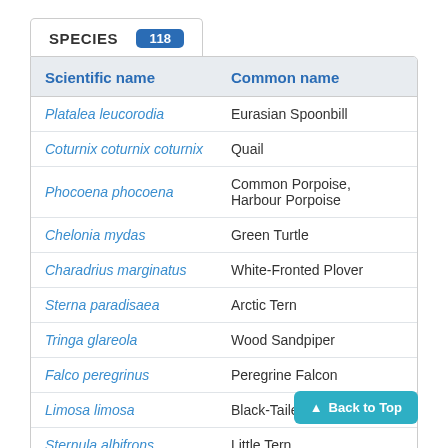SPECIES 118
| Scientific name | Common name |
| --- | --- |
| Platalea leucorodia | Eurasian Spoonbill |
| Coturnix coturnix coturnix | Quail |
| Phocoena phocoena | Common Porpoise, Harbour Porpoise |
| Chelonia mydas | Green Turtle |
| Charadrius marginatus | White-Fronted Plover |
| Sterna paradisaea | Arctic Tern |
| Tringa glareola | Wood Sandpiper |
| Falco peregrinus | Peregrine Falcon |
| Limosa limosa | Black-Tailed Godwit |
| Sternula albifrons | Little Tern |
| Aythya fuligula | Tufted Duck |
Back to Top